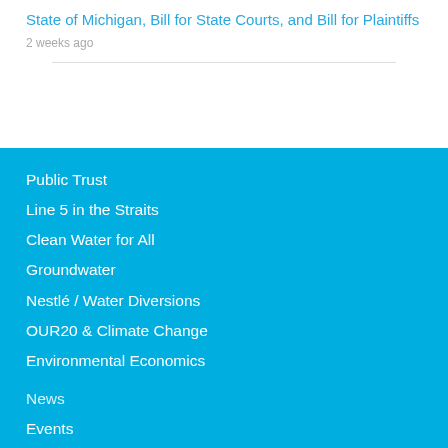State of Michigan, Bill for State Courts, and Bill for Plaintiffs
2 weeks ago
Public Trust
Line 5 in the Straits
Clean Water for All
Groundwater
Nestlé / Water Diversions
OUR20 & Climate Change
Environmental Economics
News
Events
Subscribe to E-News